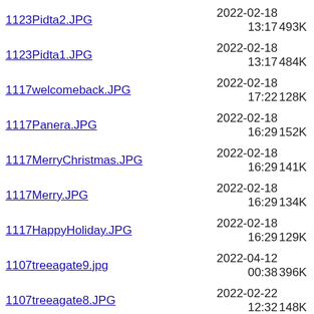1123Pidta2.JPG  2022-02-18 13:17  493K
1123Pidta1.JPG  2022-02-18 13:17  484K
1117welcomeback.JPG  2022-02-18 17:22  128K
1117Panera.JPG  2022-02-18 16:29  152K
1117MerryChristmas.JPG  2022-02-18 16:29  141K
1117Merry.JPG  2022-02-18 16:29  134K
1117HappyHoliday.JPG  2022-02-18 16:29  129K
1107treeagate9.jpg  2022-04-12 00:38  396K
1107treeagate8.JPG  2022-02-22 12:32  148K
1107treeagate7.JPG  2022-02-22 12:32  132K
1107treeagate6.JPG  2022-02-22 12:32  140K